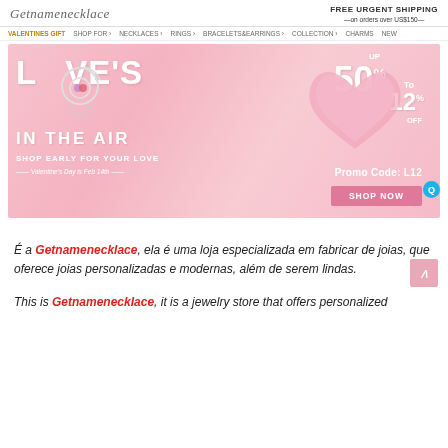Getnamenecklace | FREE URGENT SHIPPING — on orders over US$150—
[Figure (screenshot): Navigation bar with links: VALENTINES GIFT, SHOP FOR, NECKLACES, RINGS, BRACELETS&EARRINGS, COLLECTION, CHARMS, NEW]
[Figure (illustration): Valentine's Day promotional banner with pink background, heart-shaped necklace pendant on left, 'LOVE'S IN THE AIR' text, 'SHOP EARLY FOR YOUR LOVE', 'Valentine's Day is Feb 14th', and on right: UP TO 50% To 12% OFF, Promo Code: L12, SHOP NOW button, 3D pink heart decoration]
É a Getnamenecklace, ela é uma loja especializada em fabricar de joias, que oferece joias personalizadas e modernas, além de serem lindas.
This is Getnamenecklace, it is a jewelry store that offers personalized